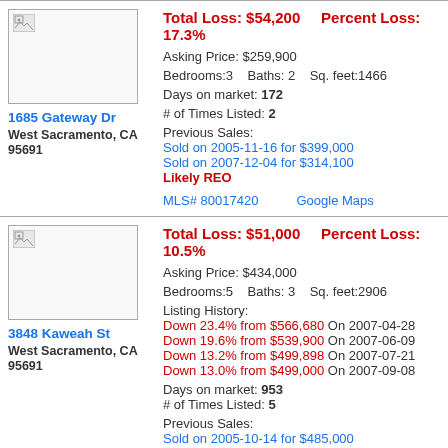[Figure (photo): Property photo placeholder (broken image) for 1685 Gateway Dr]
1685 Gateway Dr
West Sacramento, CA 95691
Total Loss: $54,200    Percent Loss: 17.3%
Asking Price: $259,900
Bedrooms:3   Baths: 2   Sq. feet:1466
Days on market: 172
# of Times Listed: 2
Previous Sales:
Sold on 2005-11-16 for $399,000
Sold on 2007-12-04 for $314,100
Likely REO
MLS# 80017420    Google Maps
[Figure (photo): Property photo placeholder (broken image) for 3848 Kaweah St]
3848 Kaweah St
West Sacramento, CA 95691
Total Loss: $51,000    Percent Loss: 10.5%
Asking Price: $434,000
Bedrooms:5   Baths: 3   Sq. feet:2906
Listing History:
Down 23.4% from $566,680 On 2007-04-28
Down 19.6% from $539,900 On 2007-06-09
Down 13.2% from $499,898 On 2007-07-21
Down 13.0% from $499,000 On 2007-09-08
Days on market: 953
# of Times Listed: 5
Previous Sales:
Sold on 2005-10-14 for $485,000